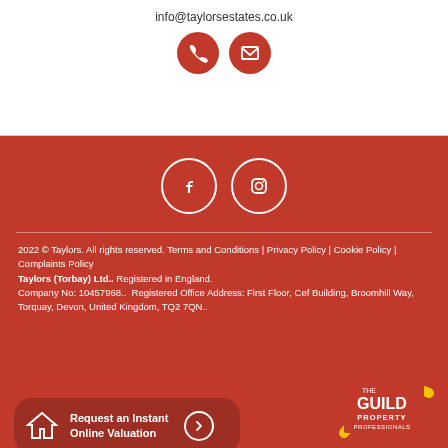info@taylorsestates.co.uk
[Figure (illustration): Red circle phone icon and red circle email/envelope icon buttons]
[Figure (illustration): White outline Facebook and Instagram circle icon buttons on red background]
2022 © Taylors. All rights reserved. Terms and Conditions | Privacy Policy | Cookie Policy | Complaints Policy
Taylors (Torbay) Ltd.. Registered in England.
Company No: 10457968..  Registered Office Address: First Floor, Cef Building, Broomhill Way, Torquay, Devon, United Kingdom, TQ2 7QN..
[Figure (illustration): House icon with Request an Instant Online Valuation button and arrow circle]
[Figure (logo): The Guild Property Professionals logo]